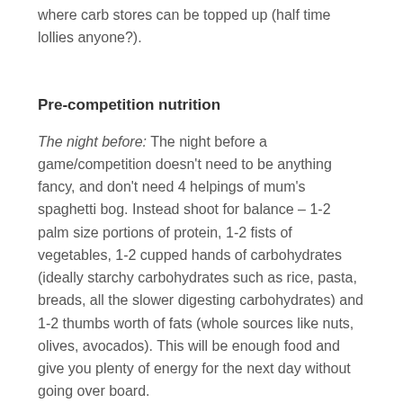where carb stores can be topped up (half time lollies anyone?).
Pre-competition nutrition
The night before: The night before a game/competition doesn't need to be anything fancy, and don't need 4 helpings of mum's spaghetti bog. Instead shoot for balance – 1-2 palm size portions of protein, 1-2 fists of vegetables, 1-2 cupped hands of carbohydrates (ideally starchy carbohydrates such as rice, pasta, breads, all the slower digesting carbohydrates) and 1-2 thumbs worth of fats (whole sources like nuts, olives, avocados). This will be enough food and give you plenty of energy for the next day without going over board.
Breakfast/Lunch: Pretty much the same as dinner, eat